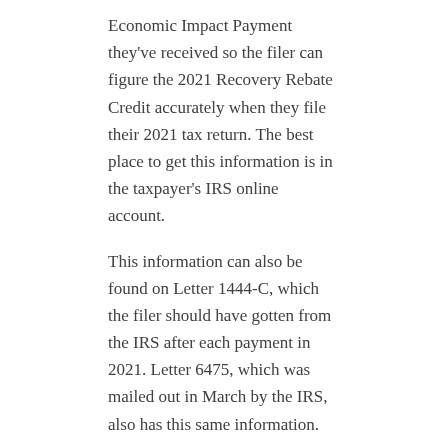Economic Impact Payment they've received so the filer can figure the 2021 Recovery Rebate Credit accurately when they file their 2021 tax return. The best place to get this information is in the taxpayer's IRS online account.
This information can also be found on Letter 1444-C, which the filer should have gotten from the IRS after each payment in 2021. Letter 6475, which was mailed out in March by the IRS, also has this same information.
Source: IR-2022-82
– Story provided by TaxingSubjects.com
Recent Posts
English  ices New Sample Security Plan